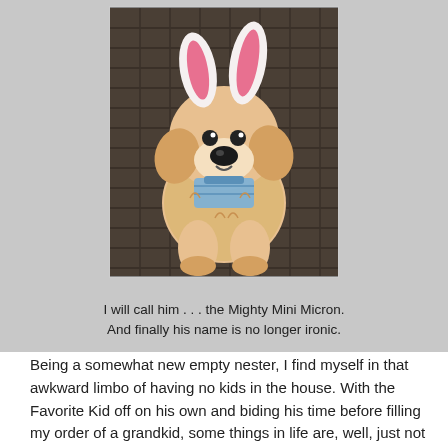[Figure (photo): A stuffed animal dog (golden/tan colored plush toy) wearing white and pink bunny ears and a blue scarf/bow, photographed against a dark woven background.]
I will call him . . . the Mighty Mini Micron.
And finally his name is no longer ironic.
Being a somewhat new empty nester, I find myself in that awkward limbo of having no kids in the house. With the Favorite Kid off on his own and biding his time before filling my order of a grandkid, some things in life are, well, just not as much fun.